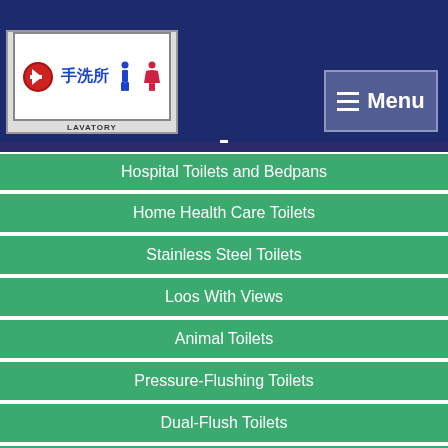[Figure (photo): Japanese lavatory sign showing arrow, kanji characters 手洗所, male and female restroom icons, and the word LAVATORY]
Menu
Hospital Toilets and Bedpans
Home Health Care Toilets
Stainless Steel Toilets
Loos With Views
Animal Toilets
Pressure-Flushing Toilets
Dual-Flush Toilets
Ice-Cooled Urinals
Toilets of Terror